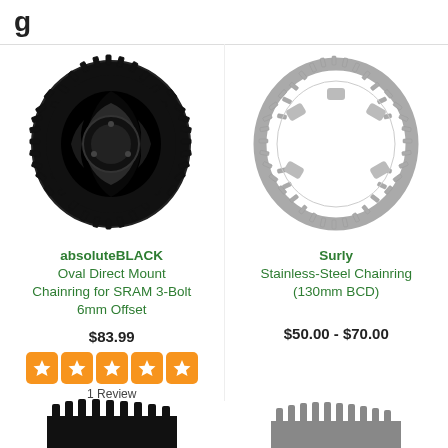g
[Figure (photo): absoluteBLACK oval direct mount chainring, black, for SRAM 3-bolt 6mm offset]
absoluteBLACK
Oval Direct Mount Chainring for SRAM 3-Bolt 6mm Offset
$83.99
[Figure (infographic): 5 orange star rating boxes]
1 Review
[Figure (photo): Surly stainless-steel chainring, silver, 130mm BCD]
Surly
Stainless-Steel Chainring (130mm BCD)
$50.00 - $70.00
[Figure (photo): Partial bottom view of a chainring (left column)]
[Figure (photo): Partial bottom view of a chainring (right column)]